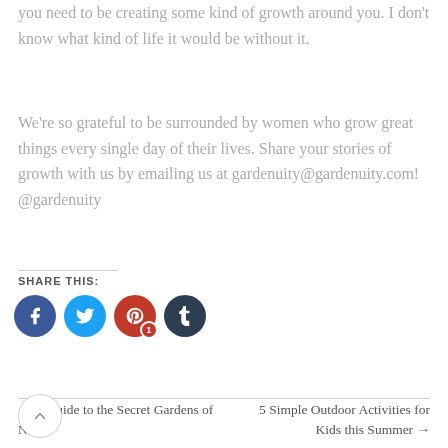you need to be creating some kind of growth around you. I don’t know what kind of life it would be without it.
We’re so grateful to be surrounded by women who grow great things every single day of their lives. Share your stories of growth with us by emailing us at gardenuity@gardenuity.com! @gardenuity
SHARE THIS:
[Figure (infographic): Four social media share buttons: Facebook (blue circle), Twitter (light blue circle), Pinterest (red circle with badge showing 1), Tumblr (dark navy circle)]
← A Guide to the Secret Gardens of NYC
5 Simple Outdoor Activities for Kids this Summer →